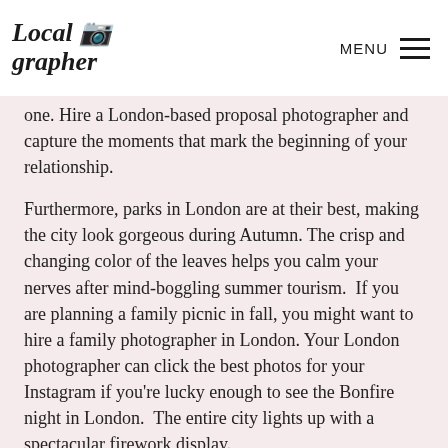Local grapher | MENU
one. Hire a London-based proposal photographer and capture the moments that mark the beginning of your relationship.
Furthermore, parks in London are at their best, making the city look gorgeous during Autumn. The crisp and changing color of the leaves helps you calm your nerves after mind-boggling summer tourism.  If you are planning a family picnic in fall, you might want to hire a family photographer in London. Your London photographer can click the best photos for your Instagram if you're lucky enough to see the Bonfire night in London.  The entire city lights up with a spectacular firework display.
Get a perfect photo shot done in London at